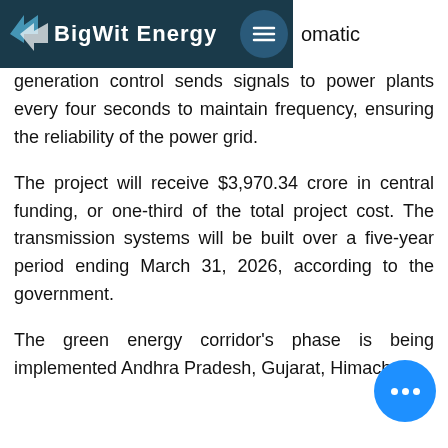BigWit Energy
omatic generation control sends signals to power plants every four seconds to maintain frequency, ensuring the reliability of the power grid.
The project will receive $3,970.34 crore in central funding, or one-third of the total project cost. The transmission systems will be built over a five-year period ending March 31, 2026, according to the government.
The green energy corridor's phase is being implemented Andhra Pradesh, Gujarat, Himachal